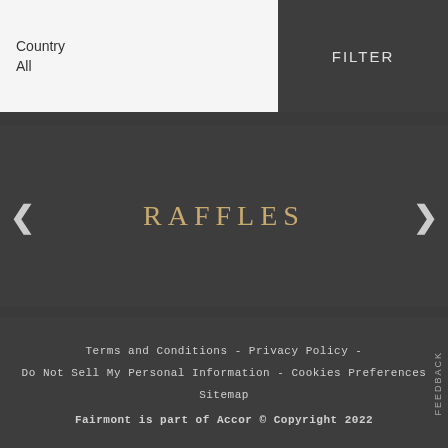Country
All
FILTER
RAFFLES
Terms and Conditions - Privacy Policy -
Do Not Sell My Personal Information - Cookies Preferences
Sitemap
Fairmont is part of Accor © Copyright 2022